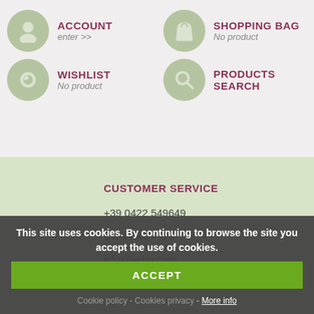ACCOUNT
enter >>
SHOPPING BAG
No product
WISHLIST
No product
PRODUCTS SEARCH
CUSTOMER SERVICE
+39 0422 549649
CONTACT US
info@laikly.com
This site uses cookies. By continuing to browse the site you accept the use of cookies.
ACCEPT
Cookie policy - Cookies privacy - More info